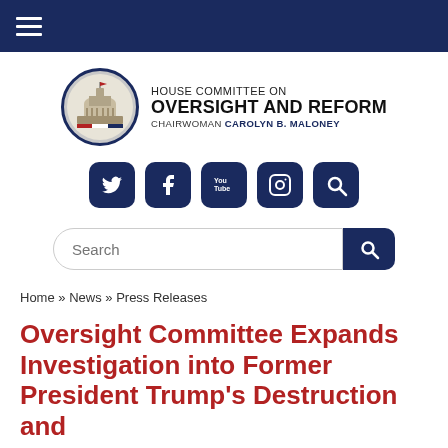House Committee on Oversight and Reform — navigation bar
[Figure (logo): House Committee on Oversight and Reform logo with Capitol dome icon, text reading HOUSE COMMITTEE ON OVERSIGHT AND REFORM, CHAIRWOMAN CAROLYN B. MALONEY]
[Figure (infographic): Social media icon buttons: Twitter, Facebook, YouTube, Instagram, Search — dark navy rounded square icons]
Search
Home » News » Press Releases
Oversight Committee Expands Investigation into Former President Trump's Destruction and